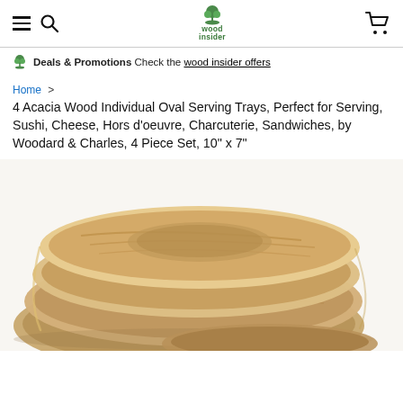wood insider — navigation bar with hamburger, search, logo, and cart
Deals & Promotions  Check the wood insider offers
Home > 4 Acacia Wood Individual Oval Serving Trays, Perfect for Serving, Sushi, Cheese, Hors d'oeuvre, Charcuterie, Sandwiches, by Woodard & Charles, 4 Piece Set, 10" x 7"
[Figure (photo): Stack of 4 oval acacia wood serving trays photographed from above at an angle, showing natural wood grain in warm brown tones]